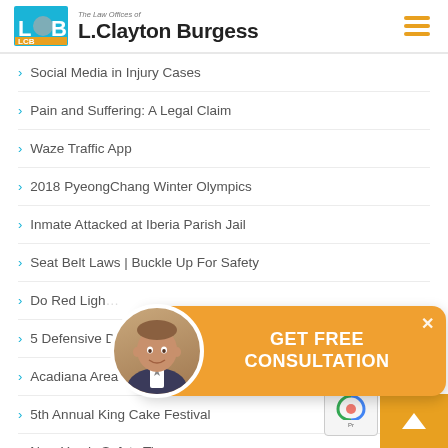The Law Offices of L.Clayton Burgess
Social Media in Injury Cases
Pain and Suffering: A Legal Claim
Waze Traffic App
2018 PyeongChang Winter Olympics
Inmate Attacked at Iberia Parish Jail
Seat Belt Laws | Buckle Up For Safety
Do Red Ligh…
5 Defensive D…
Acadiana Area Mardi Gras Schedule 2018
5th Annual King Cake Festival
New Year's Safety Tips
[Figure (infographic): GET FREE CONSULTATION popup overlay with attorney photo avatar and orange rounded rectangle background with close X button]